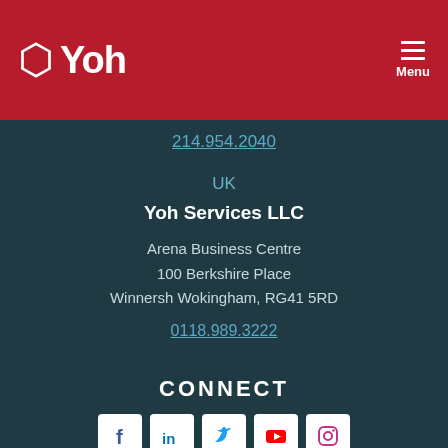[Figure (logo): Yoh company logo with hexagon icon and text 'Yoh' in white on red background]
Menu
214.954.2040
UK
Yoh Services LLC
Arena Business Centre
100 Berkshire Place
Winnersh Wokingham, RG41 5RD
0118.989.3222
CONNECT
[Figure (infographic): Social media icons: Facebook, LinkedIn, Twitter, YouTube, Instagram]